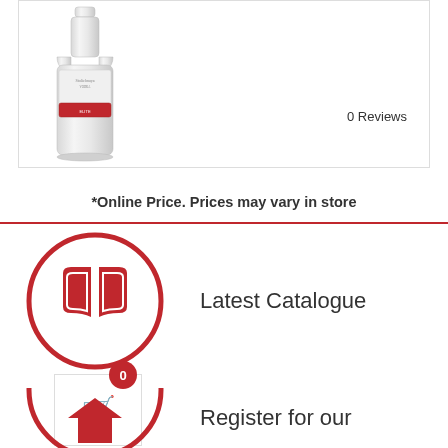[Figure (photo): A clear glass vodka bottle with ornate label, photographed against white background]
0 Reviews
*Online Price. Prices may vary in store
[Figure (illustration): Red circle icon with open book/catalogue symbol inside]
Latest Catalogue
[Figure (illustration): Shopping cart add icon with badge showing count 0]
[Figure (illustration): Red circle icon with house/location symbol inside (partially visible)]
Register for our